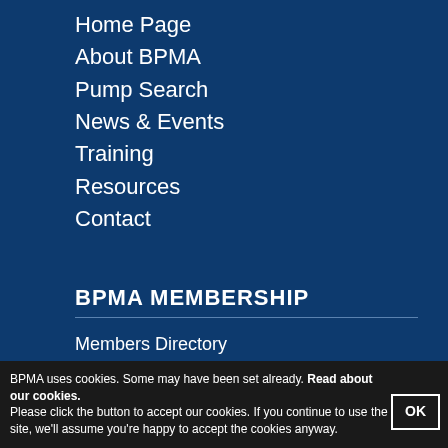Home Page
About BPMA
Pump Search
News & Events
Training
Resources
Contact
BPMA MEMBERSHIP
Members Directory
Associate Members
BPMA Member List
Join BPMA
Membership Fees
BPMA Membership Benefits
BPMA uses cookies. Some may have been set already. Read about our cookies.
Please click the button to accept our cookies. If you continue to use the site, we'll assume you're happy to accept the cookies anyway.